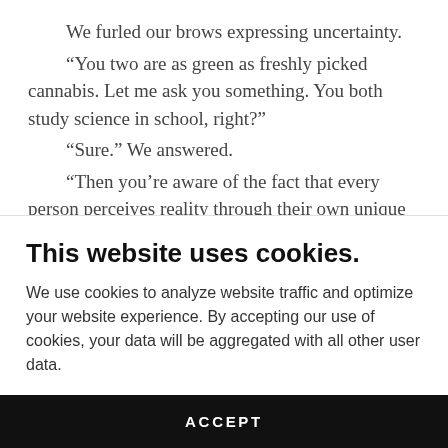We furled our brows expressing uncertainty.
“You two are as green as freshly picked cannabis. Let me ask you something. You both study science in school, right?”
“Sure.” We answered.
“Then you’re aware of the fact that every person perceives reality through their own unique filter. Right?”
This website uses cookies.
We use cookies to analyze website traffic and optimize your website experience. By accepting our use of cookies, your data will be aggregated with all other user data.
ACCEPT